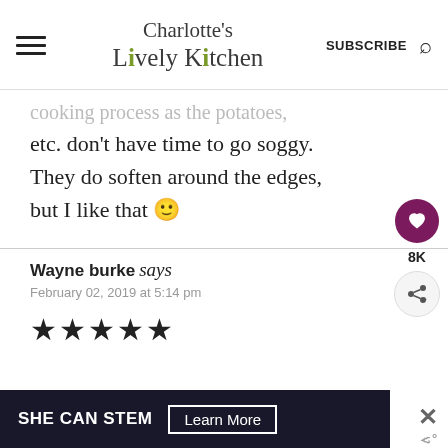Charlotte's Lively Kitchen | SUBSCRIBE
cooking process as the potatoes, etc. don't have time to go soggy. They do soften around the edges, but I like that 🙂
Wayne burke says
February 02, 2019 at 5:14 pm
[Figure (other): Five star rating icons (filled black stars)]
[Figure (other): SHE CAN STEM advertisement banner with Learn More button]